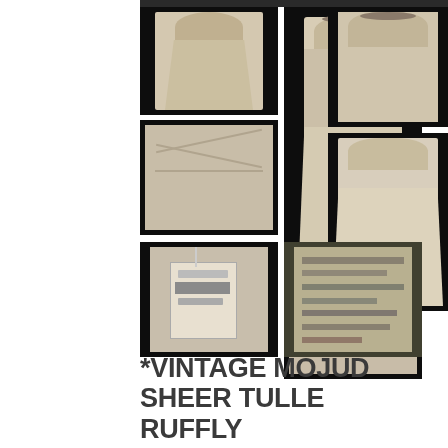[Figure (photo): Grid of 9 product photos showing a vintage cream/ivory slip dress (Mojud brand) on a mannequin from various angles, plus close-up of garment tag and price label]
*VINTAGE MOJUD SHEER TULLE RUFFLY